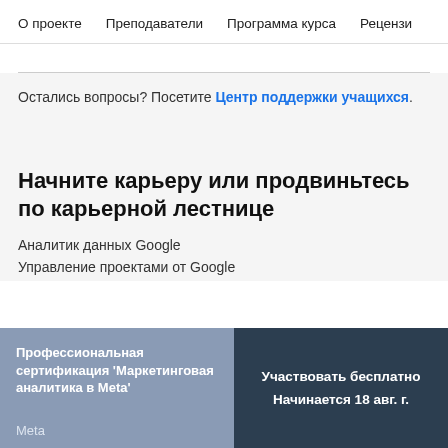О проекте   Преподаватели   Программа курса   Рецензи
Остались вопросы? Посетите Центр поддержки учащихся.
Начните карьеру или продвиньтесь по карьерной лестнице
Аналитик данных Google
Управление проектами от Google
Профессиональная сертификация 'Маркетинговая аналитика в Meta'
Meta
Участвовать бесплатно
Начинается 18 авг. г.